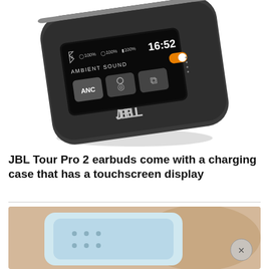[Figure (photo): JBL Tour Pro 2 charging case with touchscreen display showing ANC, Ambient Sound controls, battery percentages (100%, 100%, 100%), time (16:52), and JBL logo on the front of the dark gray case.]
JBL Tour Pro 2 earbuds come with a charging case that has a touchscreen display
[Figure (photo): A hand holding a white/light blue device, partially visible at the bottom of the page.]